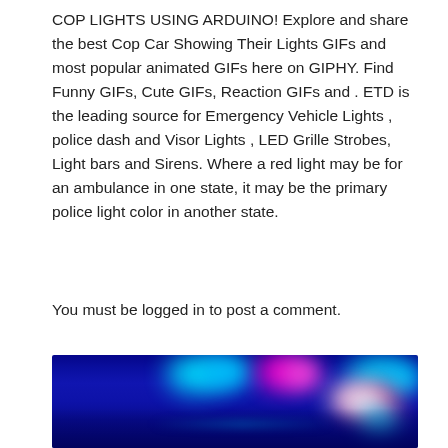COP LIGHTS USING ARDUINO! Explore and share the best Cop Car Showing Their Lights GIFs and most popular animated GIFs here on GIPHY. Find Funny GIFs, Cute GIFs, Reaction GIFs and . ETD is the leading source for Emergency Vehicle Lights , police dash and Visor Lights , LED Grille Strobes, Light bars and Sirens. Where a red light may be for an ambulance in one state, it may be the primary police light color in another state.
You must be logged in to post a comment.
[Figure (photo): Photograph of blurred police car emergency lights (cop lights) showing blue, cyan, pink, magenta, red and white bokeh light blobs against a dark blue background, taken at night.]